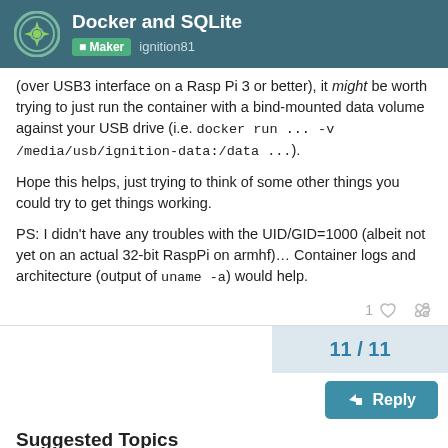Docker and SQLite — Maker ignition81
(over USB3 interface on a Rasp Pi 3 or better), it might be worth trying to just run the container with a bind-mounted data volume against your USB drive (i.e. docker run ... -v /media/usb/ignition-data:/data ...).
Hope this helps, just trying to think of some other things you could try to get things working.
PS: I didn't have any troubles with the UID/GID=1000 (albeit not yet on an actual 32-bit RaspPi on armhf)... Container logs and architecture (output of uname -a) would help.
1
11 / 11
Reply
Suggested Topics